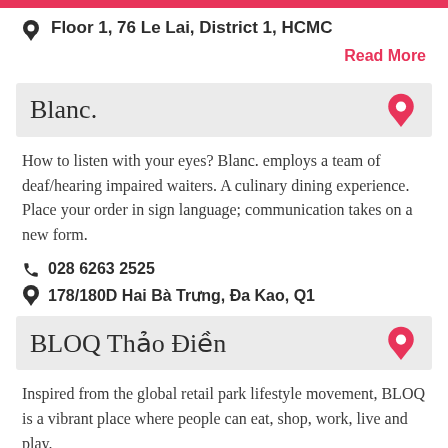Floor 1, 76 Le Lai, District 1, HCMC
Read More
Blanc.
How to listen with your eyes? Blanc. employs a team of deaf/hearing impaired waiters. A culinary dining experience. Place your order in sign language; communication takes on a new form.
028 6263 2525
178/180D Hai Bà Trưng, Đa Kao, Q1
BLOQ Thảo Điền
Inspired from the global retail park lifestyle movement, BLOQ is a vibrant place where people can eat, shop, work, live and play.